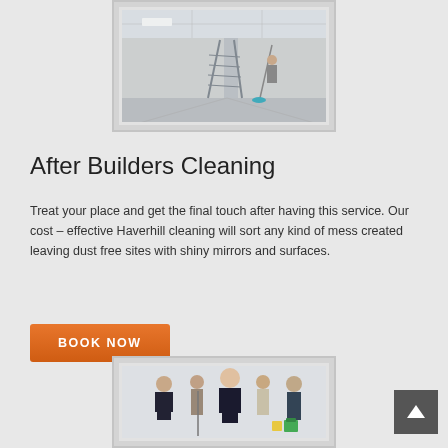[Figure (photo): Empty room interior with a step ladder and a person mopping the floor, used for after builders cleaning service]
After Builders Cleaning
Treat your place and get the final touch after having this service. Our cost – effective Haverhill cleaning will sort any kind of mess created leaving dust free sites with shiny mirrors and surfaces.
BOOK NOW
[Figure (photo): Group of cleaning staff in uniform holding cleaning equipment and supplies]